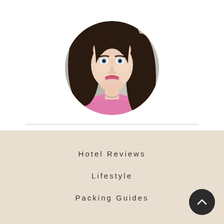[Figure (photo): Circular profile photo of a young woman with long dark brown hair and blue eyes, wearing a pink top, photographed against a blurred grey background.]
Hotel Reviews
Lifestyle
Packing Guides